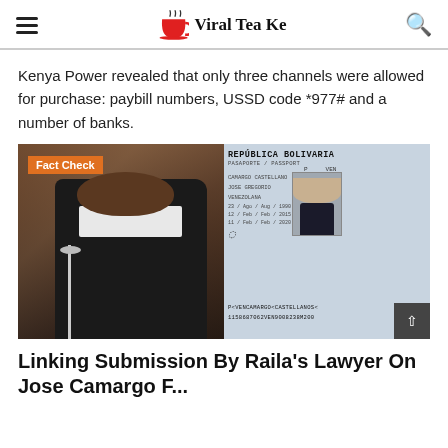Viral Tea Ke
Kenya Power revealed that only three channels were allowed for purchase: paybill numbers, USSD code *977# and a number of banks.
[Figure (photo): Composite image: left side shows a woman in legal robes speaking at a microphone; right side shows a Venezuelan passport (República Bolivaria) for Jose Gregorio Camargo Castellano with passport machine-readable zone visible.]
Linking Submission By Raila's Lawyer On Jose Camargo F...